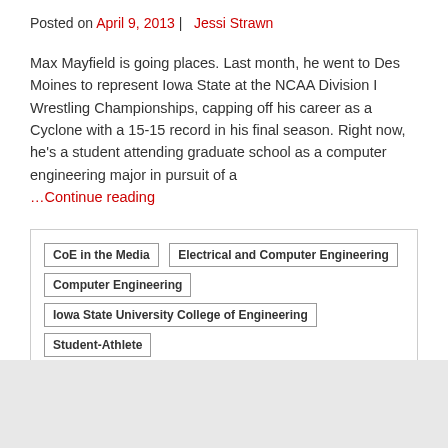Posted on April 9, 2013 |   Jessi Strawn
Max Mayfield is going places. Last month, he went to Des Moines to represent Iowa State at the NCAA Division I Wrestling Championships, capping off his career as a Cyclone with a 15-15 record in his final season. Right now, he's a student attending graduate school as a computer engineering major in pursuit of a …Continue reading
CoE in the Media
Electrical and Computer Engineering
Computer Engineering
Iowa State University College of Engineering
Student-Athlete